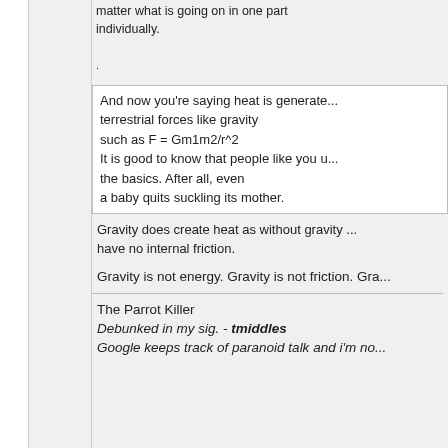matter what is going on in one part individually.
.
And now you're saying heat is generated by terrestrial forces like gravity such as F = Gm1m2/r^2 It is good to know that people like you understand the basics. After all, even a baby quits suckling its mother.
Gravity does create heat as without gravity you have no internal friction.
Gravity is not energy. Gravity is not friction. Gra...
The Parrot Killer
Debunked in my sig. - tmiddles
Google keeps track of paranoid talk and i'm no...